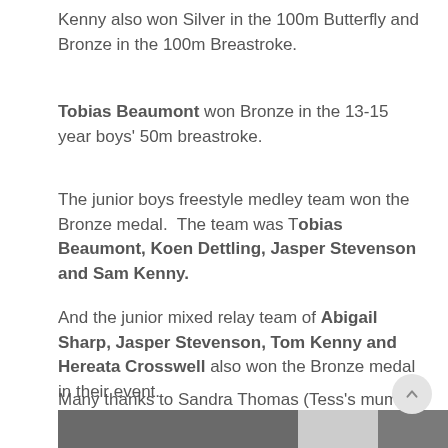Kenny also won Silver in the 100m Butterfly and Bronze in the 100m Breastroke.
Tobias Beaumont won Bronze in the 13-15 year boys' 50m breastroke.
The junior boys freestyle medley team won the Bronze medal.  The team was Tobias Beaumont, Koen Dettling, Jasper Stevenson and Sam Kenny.
And the junior mixed relay team of Abigail Sharp, Jasper Stevenson, Tom Kenny and Hereata Crosswell also won the Bronze medal in their event.
Many thanks to Sandra Thomas (Tess's mum) for managing and organising the team and to their coach Sandra Burrows.
[Figure (photo): Three photos of a swimming pool or event venue shown partially at the bottom of the page]